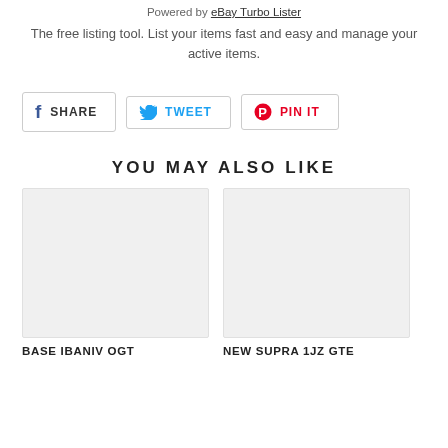Powered by eBay Turbo Lister
The free listing tool. List your items fast and easy and manage your active items.
[Figure (other): Social share buttons: Facebook SHARE, Twitter TWEET, Pinterest PIN IT]
YOU MAY ALSO LIKE
[Figure (photo): Product image placeholder (light grey rectangle) for first product card]
BASE IBANIV OGT
[Figure (photo): Product image placeholder (light grey rectangle) for second product card]
NEW SUPRA 1JZ GTE